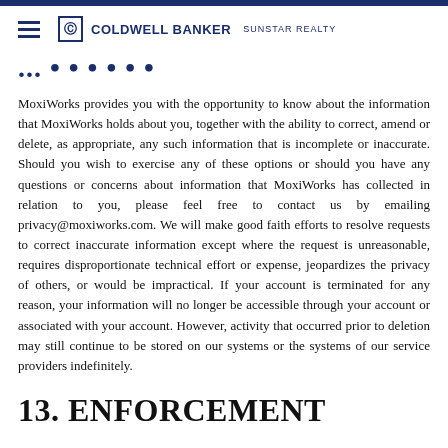COLDWELL BANKER SUNSTAR REALTY
... (partial section title, cut off)
MoxiWorks provides you with the opportunity to know about the information that MoxiWorks holds about you, together with the ability to correct, amend or delete, as appropriate, any such information that is incomplete or inaccurate. Should you wish to exercise any of these options or should you have any questions or concerns about information that MoxiWorks has collected in relation to you, please feel free to contact us by emailing privacy@moxiworks.com. We will make good faith efforts to resolve requests to correct inaccurate information except where the request is unreasonable, requires disproportionate technical effort or expense, jeopardizes the privacy of others, or would be impractical. If your account is terminated for any reason, your information will no longer be accessible through your account or associated with your account. However, activity that occurred prior to deletion may still continue to be stored on our systems or the systems of our service providers indefinitely.
13. ENFORCEMENT